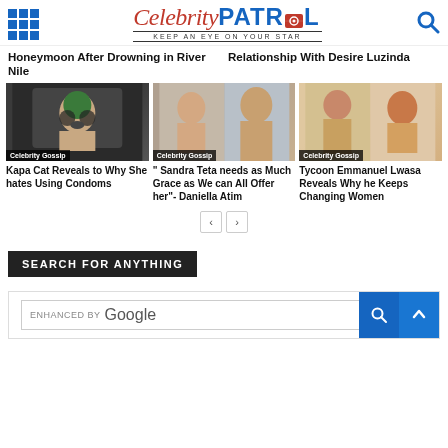Celebrity Patrol - KEEP AN EYE ON YOUR STAR
Honeymoon After Drowning in River Nile
Relationship With Desire Luzinda
[Figure (photo): Woman with headphones at microphone, Celebrity Gossip badge]
Kapa Cat Reveals to Why She hates Using Condoms
[Figure (photo): Two photos of women, Celebrity Gossip badge]
" Sandra Teta needs as Much Grace as We can All Offer her"- Daniella Atim
[Figure (photo): Two women photos, Celebrity Gossip badge]
Tycoon Emmanuel Lwasa Reveals Why he Keeps Changing Women
SEARCH FOR ANYTHING
ENHANCED BY Google